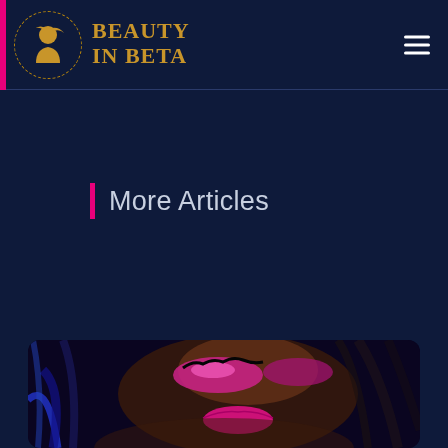BEAUTY IN BETA
More Articles
[Figure (photo): Close-up portrait of a Black woman with bold pink/magenta eyeshadow, dramatic false lashes, magenta lipstick, and colorful braids (blue and dark tones). The photo is cropped to show her face and shoulders from above.]